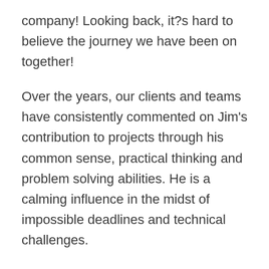company! Looking back, it?s hard to believe the journey we have been on together!
Over the years, our clients and teams have consistently commented on Jim's contribution to projects through his common sense, practical thinking and problem solving abilities. He is a calming influence in the midst of impossible deadlines and technical challenges.
We've not researched how many designers stay with the same company